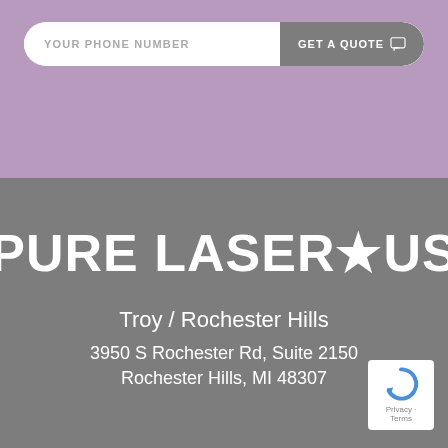[Figure (screenshot): Phone number input field with rounded pill shape on purple background, with a 'GET A QUOTE' button on the right side in gray]
PURE LASER.US
Troy / Rochester Hills
3950 S Rochester Rd, Suite 2150
Rochester Hills, MI 48307
[Figure (logo): reCAPTCHA badge with the reCAPTCHA logo and Privacy - Terms text]